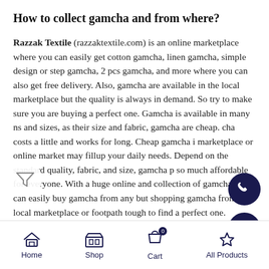How to collect gamcha and from where?
Razzak Textile (razzaktextile.com) is an online marketplace where you can easily get cotton gamcha, linen gamcha, simple design or step gamcha, 2 pcs gamcha, and more where you can also get free delivery. Also, gamcha are available in the local marketplace but the quality is always in demand. So try to make sure you are buying a perfect one. Gamcha is available in many ns and sizes, as their size and fabric, gamcha are cheap. cha costs a little and works for long. Cheap gamcha i marketplace or online market may fillup your daily needs. Depend on the standard quality, fabric, and size, gamcha p so much affordable for everyone. With a huge online and collection of gamcha, you can easily buy gamcha from any but shopping gamcha from a local marketplace or footpath tough to find a perfect one. Shopping gamcha online may easier
Home  Shop  Cart 0  All Products